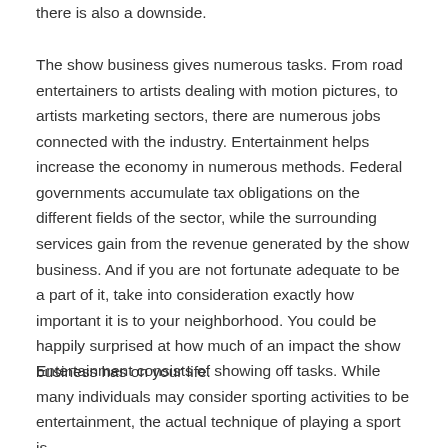there is also a downside.
The show business gives numerous tasks. From road entertainers to artists dealing with motion pictures, to artists marketing sectors, there are numerous jobs connected with the industry. Entertainment helps increase the economy in numerous methods. Federal governments accumulate tax obligations on the different fields of the sector, while the surrounding services gain from the revenue generated by the show business. And if you are not fortunate adequate to be a part of it, take into consideration exactly how important it is to your neighborhood. You could be happily surprised at how much of an impact the show business has on your life.
Entertainment consists of showing off tasks. While many individuals may consider sporting activities to be entertainment, the actual technique of playing a sport is